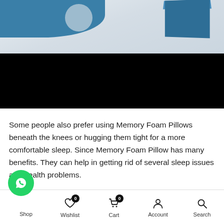[Figure (photo): Product photo showing a memory foam pillow packaging box in blue/teal colors against a light gray background. A large black redacted bar covers the lower portion of the image.]
Some people also prefer using Memory Foam Pillows beneath the knees or hugging them tight for a more comfortable sleep. Since Memory Foam Pillow has many benefits. They can help in getting rid of several sleep issues and health problems.
A supportive, flexible pillow prevents lateral neck
Shop  Wishlist  Cart  Account  Search